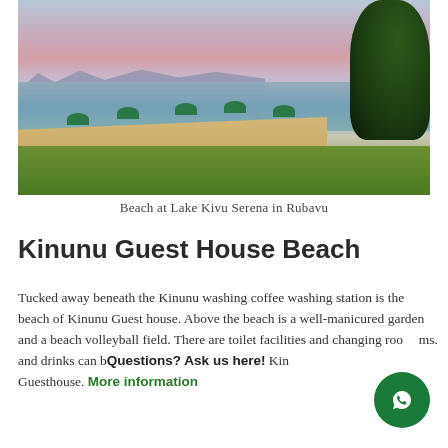[Figure (photo): Scenic beach at Lake Kivu Serena in Rubavu at sunset, showing green umbrellas on sandy beach, green grass lawn, calm lake water with distant mountains, and large tree on right side.]
Beach at Lake Kivu Serena in Rubavu
Kinunu Guest House Beach
Tucked away beneath the Kinunu washing coffee washing station is the beach of Kinunu Guest house. Above the beach is a well-manicured garden and a beach volleyball field. There are toilet facilities and changing rooms. Each and drinks can be arranged at the beach by Kinunu Guesthouse. More information
[Figure (logo): WhatsApp chat bubble icon, circular dark green button with WhatsApp phone/message icon in white, with text overlay 'Questions? Ask us here!']